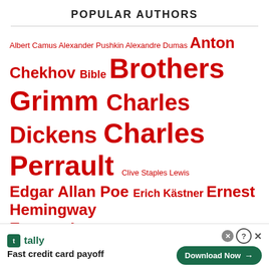POPULAR AUTHORS
Albert Camus Alexander Pushkin Alexandre Dumas Anton Chekhov Bible Brothers Grimm Charles Dickens Charles Perrault Clive Staples Lewis Edgar Allan Poe Erich Kästner Ernest Hemingway Eugene Ionesco Franz Kafka François Rabelais Fyodor Dostoyevsky Gabriel García Márquez George Eliot George Orwell Guy de Maupassant H.G. Wells Hans Christian Andersen Henrik Ibsen Hermann
[Figure (infographic): Advertisement banner for Tally app: Fast credit card payoff, with Download Now button]